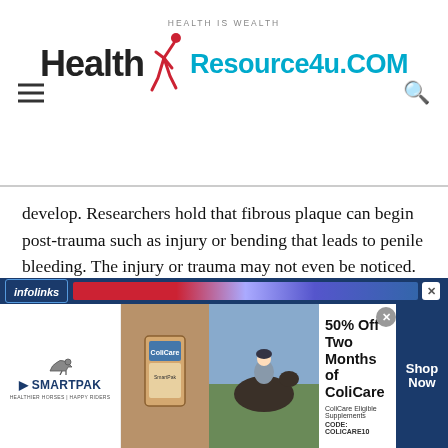HEALTH IS WEALTH | Health Resource4u.COM
develop. Researchers hold that fibrous plaque can begin post-trauma such as injury or bending that leads to penile bleeding. The injury or trauma may not even be noticed. In certain cases, the disease may be linked to injury as well as genes.
Certain medications may also trigger Peyronie's disease.
[Figure (other): Advertisement banner: SmartPak equine supplement ad with horse and rider image. '50% Off Two Months of ColiCare. ColiCare Eligible Supplements. CODE: COLICARE10'. Shop Now button. Infolinks bar at top.]